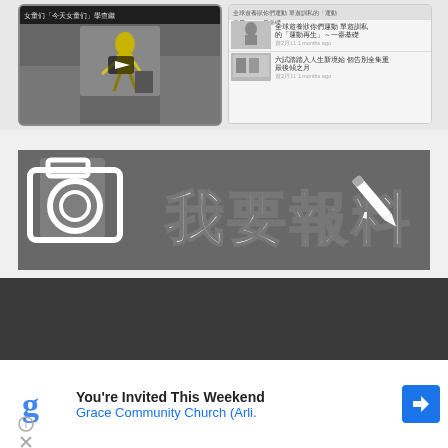[Figure (screenshot): Screenshot of a Chinese news app showing two phone mockups with sports/fitness content and news article thumbnails]
[Figure (illustration): Banner with camera icon, pencil icon, and large Chinese characters 我要報料 (I want to report) on dark gray background]
旅遊
□□□□
□□□□
[Figure (screenshot): Advertisement: You're Invited This Weekend - Grace Community Church (Arli.) with Google g logo and blue navigation arrow icon]
You're Invited This Weekend
Grace Community Church (Arli.)